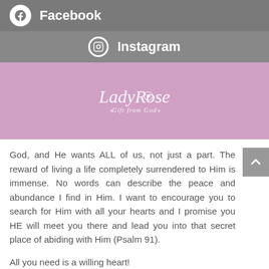Facebook
Instagram
[Figure (logo): LadyRose Gift from God logo in white script on pink/mauve background]
God, and He wants ALL of us, not just a part. The reward of living a life completely surrendered to Him is immense. No words can describe the peace and abundance I find in Him. I want to encourage you to search for Him with all your hearts and I promise you HE will meet you there and lead you into that secret place of abiding with Him (Psalm 91).
All you need is a willing heart!